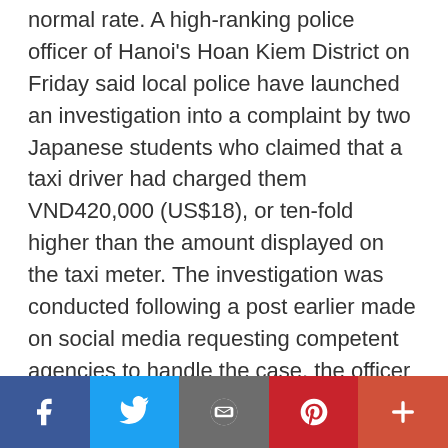normal rate. A high-ranking police officer of Hanoi's Hoan Kiem District on Friday said local police have launched an investigation into a complaint by two Japanese students who claimed that a taxi driver had charged them VND420,000 (US$18), or ten-fold higher than the amount displayed on the taxi meter. The investigation was conducted following a post earlier made on social media requesting competent agencies to handle the case, the officer said. At 6:00 pm on August 31, two Japanese students rented a taxi to move from a bank on Tran Quang Khai Street in Hoan Kiem to a place on Ly Thuong Kiet Street in the same district,
Social share bar: Facebook, Twitter, Email, Pinterest, More